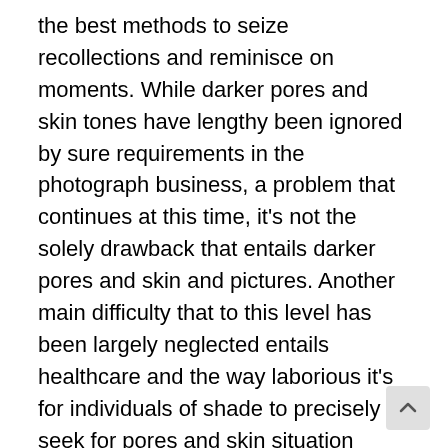the best methods to seize recollections and reminisce on moments. While darker pores and skin tones have lengthy been ignored by sure requirements in the photograph business, a problem that continues at this time, it's not the solely drawback that entails darker pores and skin and pictures. Another main difficulty that to this level has been largely neglected entails healthcare and the way laborious it's for individuals of shade to precisely seek for pores and skin situation points. When individuals with melanin-rich pores and skin seek for skincare recommendation on-line, they're usually met with photograph outcomes that don't precisely replicate them and are, consequently, unhelpful. SeeMySkin is a brand new web site and database that's designed to tackle the lack of range and illustration of darker pores and skin tones by succesful evaluation that aids in the prognosis of the skincare issues many individuals of shade face.